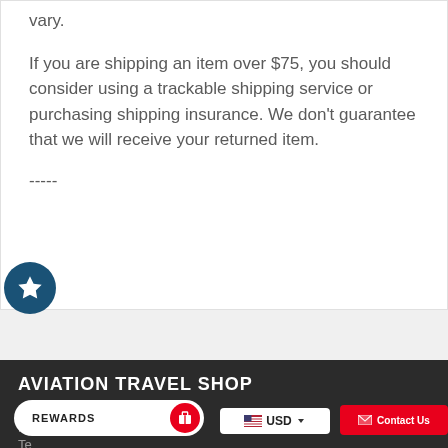vary.
If you are shipping an item over $75, you should consider using a trackable shipping service or purchasing shipping insurance. We don't guarantee that we will receive your returned item.
-----
AVIATION TRAVEL SHOP
Contact Us
Refund Policy
Te...
REWARDS  |  USD  |  Contact Us